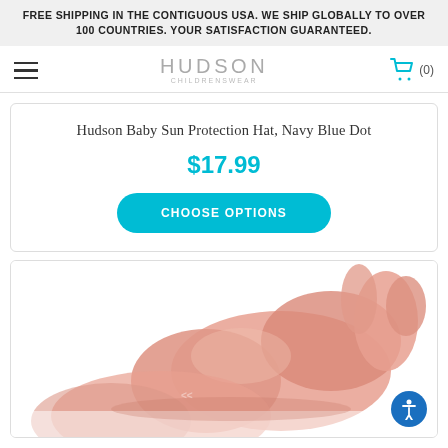FREE SHIPPING IN THE CONTIGUOUS USA. WE SHIP GLOBALLY TO OVER 100 COUNTRIES. YOUR SATISFACTION GUARANTEED.
[Figure (logo): Hudson Childrenswear logo with hamburger menu and shopping cart icon showing (0) items]
Hudson Baby Sun Protection Hat, Navy Blue Dot
$17.99
CHOOSE OPTIONS
[Figure (photo): Close-up photo of pink baby shoes/booties on white background]